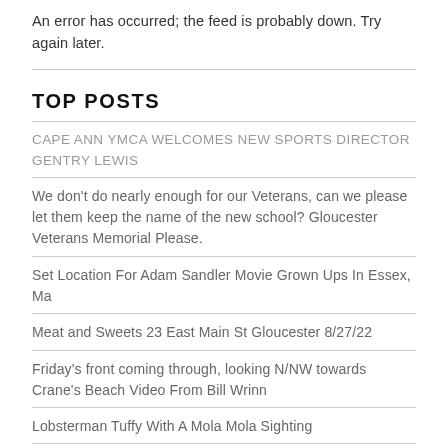An error has occurred; the feed is probably down. Try again later.
TOP POSTS
CAPE ANN YMCA WELCOMES NEW SPORTS DIRECTOR GENTRY LEWIS
We don't do nearly enough for our Veterans, can we please let them keep the name of the new school? Gloucester Veterans Memorial Please.
Set Location For Adam Sandler Movie Grown Ups In Essex, Ma
Meat and Sweets 23 East Main St Gloucester 8/27/22
Friday's front coming through, looking N/NW towards Crane's Beach Video From Bill Wrinn
Lobsterman Tuffy With A Mola Mola Sighting
Be a battery. Surround yourself with batteries. Avoid